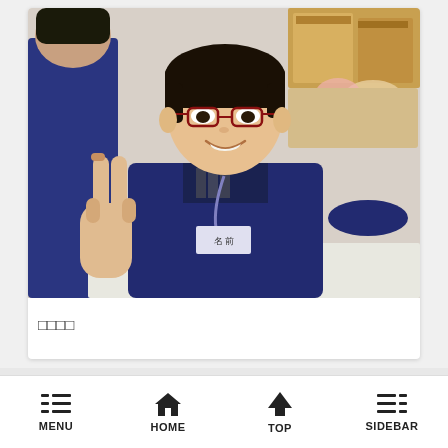[Figure (photo): A young Asian man wearing glasses and a navy blue uniform/work jacket with a lanyard and name badge, smiling and making a peace sign with his right hand. Background shows a workplace or event setting with boxes and supplies. Another person in navy blue is partially visible on the left.]
□□□□
MENU  HOME  TOP  SIDEBAR